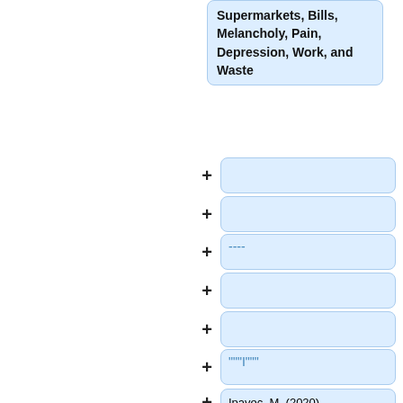Supermarkets, Bills, Melancholy, Pain, Depression, Work, and Waste
----
"""I"""
Ipavec, M. (2020) [https://www.facebook.com/Miran-Ipavec-587207098066002/ Hitchhiking Marathon: 42 Countries in 500 Hours]. Kanal: SP.